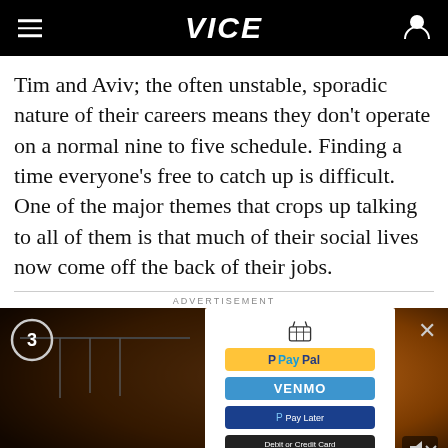VICE
Tim and Aviv; the often unstable, sporadic nature of their careers means they don't operate on a normal nine to five schedule. Finding a time everyone's free to catch up is difficult. One of the major themes that crops up talking to all of them is that much of their social lives now come off the back of their jobs.
ADVERTISEMENT
[Figure (screenshot): Advertisement video screenshot showing a woman in a yellow sweater holding a phone, with a PayPal/Venmo payment overlay panel on the right side, a circle badge with number 3 on the left, and an X close button in the upper right.]